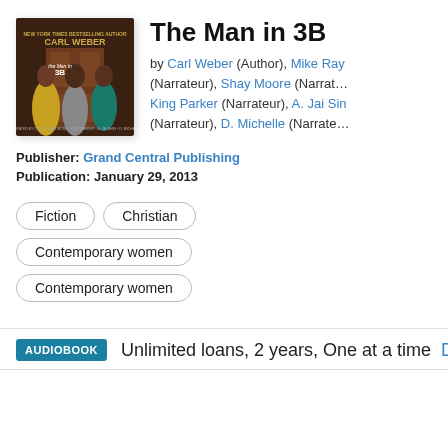[Figure (illustration): Book cover for 'The Man in 3B' by Carl Weber, showing three people standing in front of a door. Text reads 'NEW YORK TIMES BESTSELLING AUTHOR CARL WEBER the Man in 3B'. Narrated by Mike Ray, Shay Moore, King Parker, A. Jai Sin, D. Michelle.]
The Man in 3B
by Carl Weber (Author), Mike Ray (Narrateur), Shay Moore (Narrateur), King Parker (Narrateur), A. Jai Sin (Narrateur), D. Michelle (Narrateur)
Publisher: Grand Central Publishing
Publication: January 29, 2013
Fiction
Christian
Contemporary women
Contemporary women
AUDIOBOOK  Unlimited loans, 2 years, One at a time  D